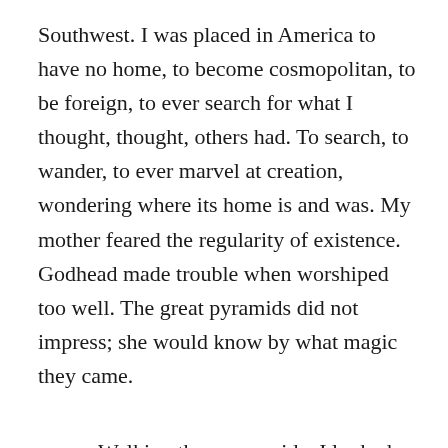Southwest. I was placed in America to have no home, to become cosmopolitan, to be foreign, to ever search for what I thought, thought, others had. To search, to wander, to ever marvel at creation, wondering where its home is and was. My mother feared the regularity of existence. Godhead made trouble when worshiped too well. The great pyramids did not impress; she would know by what magic they came.
Walking the poorer side, I looked for sparks, sparks dying out in their absurdity. Certainly I must have passed many unnoticed. What I did find was a desperate little fire, made of some spark